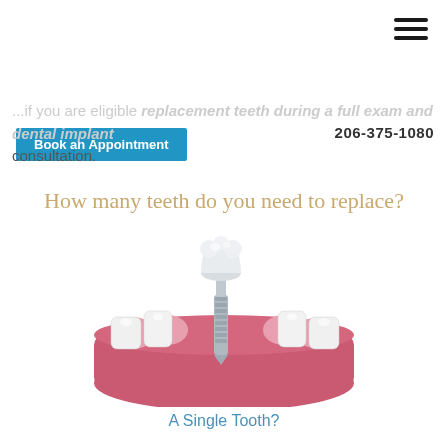Book an Appointment  206-375-1080
replacement teeth during a full exam and dental implant consultation.
How many teeth do you need to replace?
[Figure (illustration): 3D illustration of a lower jaw with teeth showing a dental implant with a crown being inserted into the gum where a tooth is missing.]
A Single Tooth?